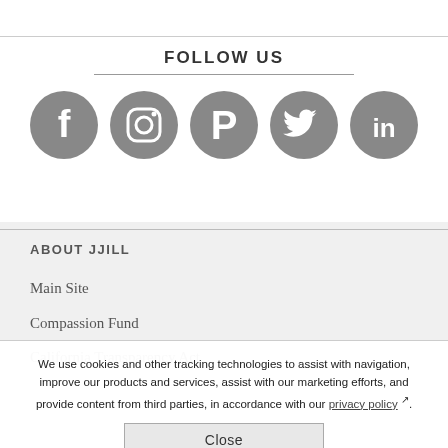FOLLOW US
[Figure (illustration): Five social media icons in gray circles: Facebook, Instagram, Pinterest, Twitter, LinkedIn]
ABOUT JJILL
Main Site
Compassion Fund
California Transparency Act
We use cookies and other tracking technologies to assist with navigation, improve our products and services, assist with our marketing efforts, and provide content from third parties, in accordance with our privacy policy.